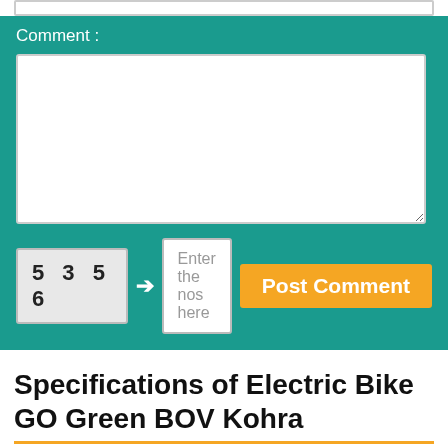Comment :
[Figure (screenshot): Comment form with textarea, CAPTCHA '5 3 5 6', input field placeholder 'Enter the nos here', and orange Post Comment button on teal background]
Specifications of Electric Bike GO Green BOV Kohra
[Figure (screenshot): Preview showing red electric bike GO Green BOV Kohra image on grey background with text 'Electric Bike GO Green BOV Kohra Specs and Features', a blue scroll-to-top button on right, and X close button]